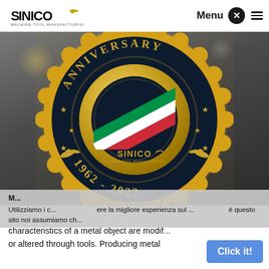SINICO | Menu
[Figure (illustration): Sinico 60th Anniversary badge (1962-2022) — gold scalloped seal on dark background with 'ANNIVERSARY' text arc at top, large '60' numeral with Italian flag diagonal stripe, Sinico logo, and '1962 - 2022' at bottom, overlaid on a metalworking background photo]
Utilizziamo i c... ere la migliore esperienza sul ... è questo sito noi assumiamo ch...
characteristics of a metal object are modif... or altered through tools. Producing metal
Click it!